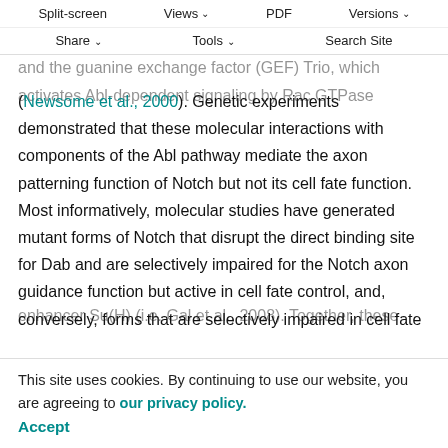Split-screen | Views | PDF | Versions | Share | Tools | Search Site
Disabled (Dab), which localizes Abl protein and stimulates its kinase activity (Kannan et al., 2017; Song et al., 2010); and the guanine exchange factor (GEF) Trio, which activates Abl-dependent signaling by Rac GTPase (Newsome et al., 2000). Genetic experiments demonstrated that these molecular interactions with components of the Abl pathway mediate the axon patterning function of Notch but not its cell fate function. Most informatively, molecular studies have generated mutant forms of Notch that disrupt the direct binding site for Dab and are selectively impaired for the Notch axon guidance function but active in cell fate control, and, conversely, forms that are selectively impaired in cell fate
This site uses cookies. By continuing to use our website, you are agreeing to our privacy policy.
Accept
enhancer Su(H) (i.e. Gal et al., 2008). Together, these data